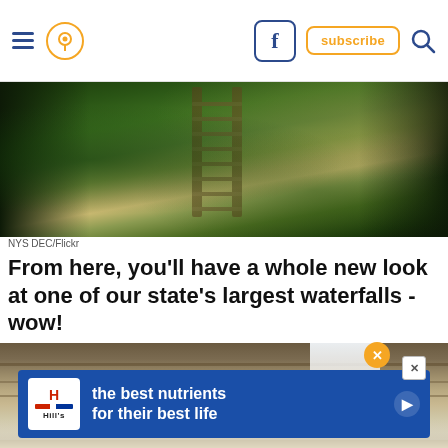Navigation bar with hamburger menu, location pin icon, Facebook icon, subscribe button, search icon
[Figure (photo): Aerial view of forested area with wooden stairs/boardwalk running through dense green trees, taken from above]
NYS DEC/Flickr
From here, you'll have a whole new look at one of our state's largest waterfalls - wow!
[Figure (photo): Rocky cliff face with a large waterfall cascading down on the right side, two visitors visible at bottom right]
[Figure (other): Advertisement banner: Hill's pet nutrition - 'the best nutrients for their best life' on blue background with Hill's logo]